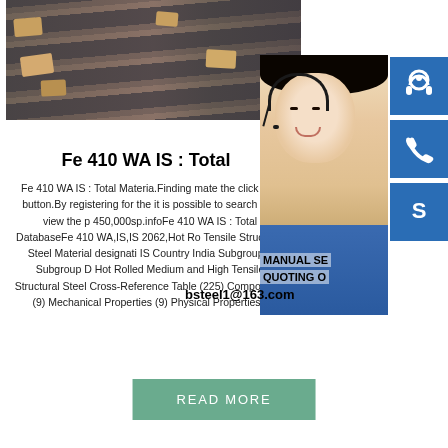[Figure (photo): Photo of steel plates/rails stacked with wooden spacer blocks, industrial setting]
[Figure (photo): Photo of a woman with headset (customer service representative) overlaid with blue icon buttons for headset, phone, and Skype contact, and text MANUAL SE..., QUOTING O..., bsteel1@163.com]
Fe 410 WA IS : Total
Fe 410 WA IS : Total Materia.Finding mate the click of a button.By registering for the it is possible to search and view the p 450,000sp.infoFe 410 WA IS : Total DatabaseFe 410 WA,IS,IS 2062,Hot Ro Tensile Structural Steel Material designati IS Country India Subgroup # Subgroup D Hot Rolled Medium and High Tensile Structural Steel Cross-Reference Table (225) Composition (9) Mechanical Properties (9) Physical Properties *
READ MORE